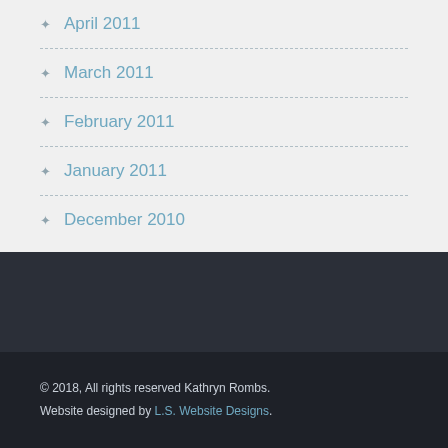April 2011
March 2011
February 2011
January 2011
December 2010
© 2018, All rights reserved Kathryn Rombs. Website designed by L.S. Website Designs.